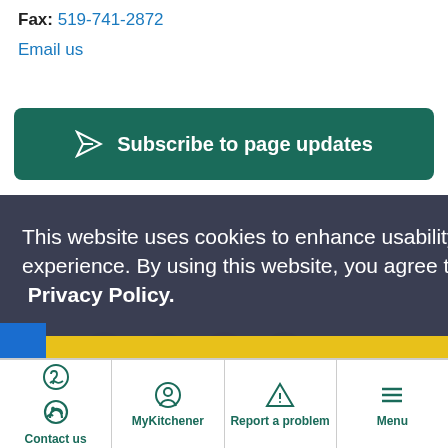Fax: 519-741-2872
Email us
Subscribe to page updates
This website uses cookies to enhance usability and provide you with a more personal experience. By using this website, you agree to our use of cookies as explained in our Privacy Policy.
Agree
Give Feedback
Contact us | MyKitchener | Report a problem | Menu